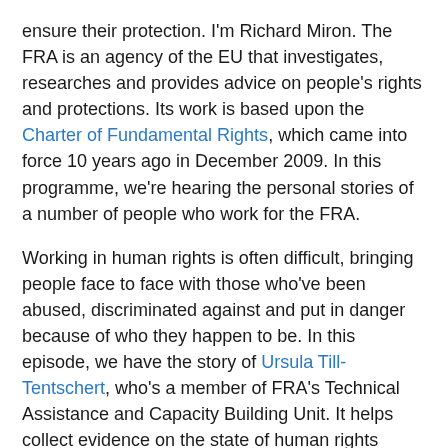ensure their protection. I'm Richard Miron. The FRA is an agency of the EU that investigates, researches and provides advice on people's rights and protections. Its work is based upon the Charter of Fundamental Rights, which came into force 10 years ago in December 2009. In this programme, we're hearing the personal stories of a number of people who work for the FRA.
Working in human rights is often difficult, bringing people face to face with those who've been abused, discriminated against and put in danger because of who they happen to be. In this episode, we have the story of Ursula Till-Tentschert, who's a member of FRA's Technical Assistance and Capacity Building Unit. It helps collect evidence on the state of human rights across the EU, and Ursula also works on the FRA's ongoing survey of Roma and Traveller people across Europe. Ursula talked about how her experience as a young girl influenced the direction of her career.
Ursula Till-Tentschert: While I grew up in Vienna as a girl in the 70s, 80s in Austria, I think I've felt the inequality as a, as